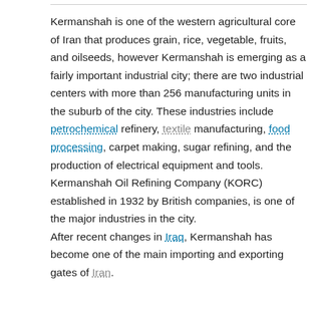Kermanshah is one of the western agricultural core of Iran that produces grain, rice, vegetable, fruits, and oilseeds, however Kermanshah is emerging as a fairly important industrial city; there are two industrial centers with more than 256 manufacturing units in the suburb of the city. These industries include petrochemical refinery, textile manufacturing, food processing, carpet making, sugar refining, and the production of electrical equipment and tools. Kermanshah Oil Refining Company (KORC) established in 1932 by British companies, is one of the major industries in the city. After recent changes in Iraq, Kermanshah has become one of the main importing and exporting gates of Iran.